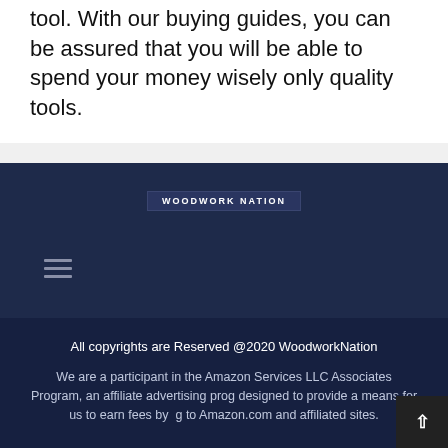tool. With our buying guides, you can be assured that you will be able to spend your money wisely only quality tools.
[Figure (logo): WoodworkNation logo text on dark navy background with hamburger menu icon]
All copyrights are Reserved @2020 WoodworkNation

We are a participant in the Amazon Services LLC Associates Program, an affiliate advertising prog... designed to provide a means for us to earn fees by ...g to Amazon.com and affiliated sites.